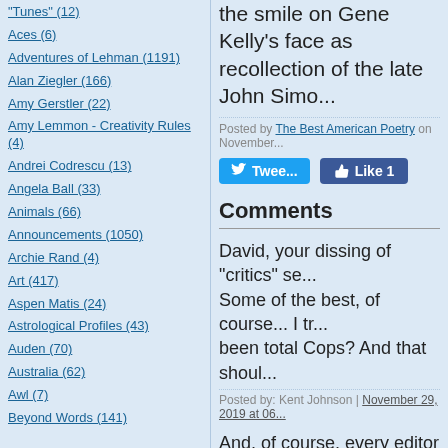"Tunes" (12)
Aces (6)
Adventures of Lehman (1191)
Alan Ziegler (166)
Amy Gerstler (22)
Amy Lemmon - Creativity Rules (4)
Andrei Codrescu (13)
Angela Ball (33)
Animals (66)
Announcements (1050)
Archie Rand (4)
Art (417)
Aspen Matis (24)
Astrological Profiles (43)
Auden (70)
Australia (62)
Awl (7)
Beyond Words (141)
the smile on Gene Kelly's face as recollection of the late John Simo...
Posted by The Best American Poetry on November...
Comments
David, your dissing of "critics" se... Some of the best, of course... I tr... been total Cops? And that shoul...
Posted by: Kent Johnson | November 29, 2019 at 06...
And, of course, every editor for B...
Posted by: Michael James Theune | December 01,...
Many of the best critics (Eliot, Au... as transgressive dancer. -- DL